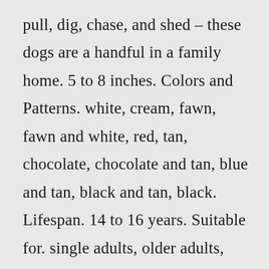pull, dig, chase, and shed – these dogs are a handful in a family home. 5 to 8 inches. Colors and Patterns. white, cream, fawn, fawn and white, red, tan, chocolate, chocolate and tan, blue and tan, black and tan, black. Lifespan. 14 to 16 years. Suitable for. single adults, older adults, individuals who live in apartments. The Chihuahua is one of the smallest dog breeds on the planet.Leonberger. With early socialization